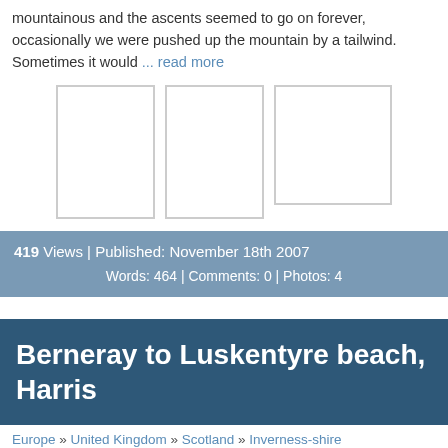mountainous and the ascents seemed to go on forever, occasionally we were pushed up the mountain by a tailwind. Sometimes it would ... read more
[Figure (photo): Three placeholder photo thumbnails in a horizontal row]
419 Views | Published: November 18th 2007 Words: 464 | Comments: 0 | Photos: 4
Berneray to Luskentyre beach, Harris
Europe » United Kingdom » Scotland » Inverness-shire » Isle of Harris